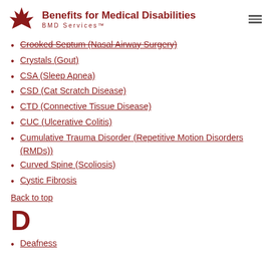Benefits for Medical Disabilities BMD Services™
Crooked Septum (Nasal Airway Surgery)
Crystals (Gout)
CSA (Sleep Apnea)
CSD (Cat Scratch Disease)
CTD (Connective Tissue Disease)
CUC (Ulcerative Colitis)
Cumulative Trauma Disorder (Repetitive Motion Disorders (RMDs))
Curved Spine (Scoliosis)
Cystic Fibrosis
Back to top
D
Deafness